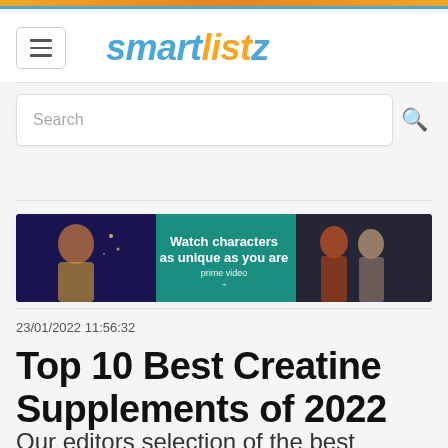smartlistz
Search
[Figure (infographic): Amazon Prime Video advertisement banner: Watch characters as unique as you are. prime video. Shows two people on left on dark background, two people on right on teal background.]
23/01/2022 11:56:32
Top 10 Best Creatine Supplements of 2022
Our editors selection of the best